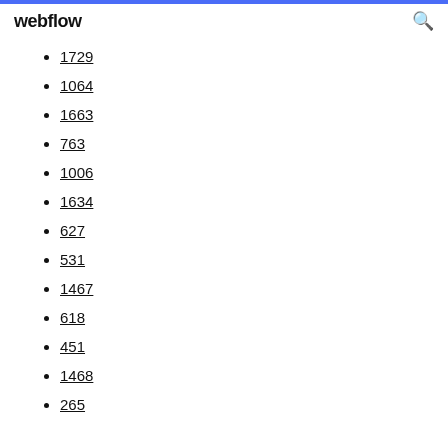webflow
1729
1064
1663
763
1006
1634
627
531
1467
618
451
1468
265